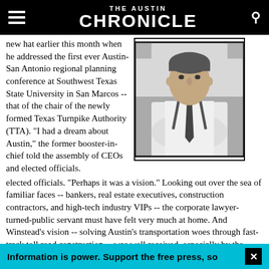THE AUSTIN CHRONICLE
new hat earlier this month when he addressed the first ever Austin-San Antonio regional planning conference at Southwest Texas State University in San Marcos -- that of the chair of the newly formed Texas Turnpike Authority (TTA). "I had a dream about Austin," the former booster-in-chief told the assembly of CEOs and elected officials. "Perhaps it was a vision." Looking out over the sea of familiar faces -- bankers, real estate executives, construction contractors, and high-tech industry VIPs -- the corporate lawyer-turned-public servant must have felt very much at home. And Winstead's vision -- solving Austin's transportation woes through fast-track toll road construction -- was well received, especially by the conference's sponsors -- including transportation industry giants like...
[Figure (photo): Black and white photograph of a man in shirt, suspenders, and tie with arms crossed, looking slightly upward]
Information is power. Support the free press, so